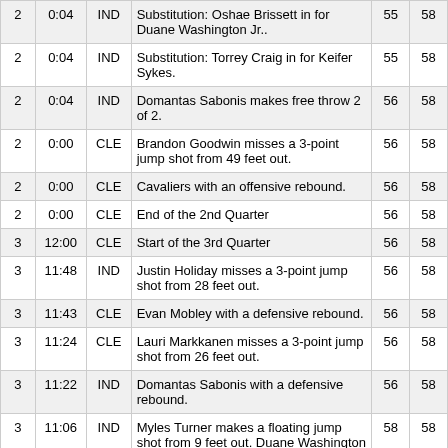| Qtr | Time | Team | Description | CLE | IND |
| --- | --- | --- | --- | --- | --- |
| 2 | 0:04 | IND | Substitution: Oshae Brissett in for Duane Washington Jr.. | 55 | 58 |
| 2 | 0:04 | IND | Substitution: Torrey Craig in for Keifer Sykes. | 55 | 58 |
| 2 | 0:04 | IND | Domantas Sabonis makes free throw 2 of 2. | 56 | 58 |
| 2 | 0:00 | CLE | Brandon Goodwin misses a 3-point jump shot from 49 feet out. | 56 | 58 |
| 2 | 0:00 | CLE | Cavaliers with an offensive rebound. | 56 | 58 |
| 2 | 0:00 | CLE | End of the 2nd Quarter | 56 | 58 |
| 3 | 12:00 | CLE | Start of the 3rd Quarter | 56 | 58 |
| 3 | 11:48 | IND | Justin Holiday misses a 3-point jump shot from 28 feet out. | 56 | 58 |
| 3 | 11:43 | CLE | Evan Mobley with a defensive rebound. | 56 | 58 |
| 3 | 11:24 | CLE | Lauri Markkanen misses a 3-point jump shot from 26 feet out. | 56 | 58 |
| 3 | 11:22 | IND | Domantas Sabonis with a defensive rebound. | 56 | 58 |
| 3 | 11:06 | IND | Myles Turner makes a floating jump shot from 9 feet out. Duane Washington Jr. with the assist. | 58 | 58 |
| 3 | 10:56 | IND | Personal foul committed by Duane Washington Jr.. | 58 | 58 |
| 3 | 10:47 | CLE | Jarrett Allen dunks. Brandon Goodwin with the assist. | 58 | 60 |